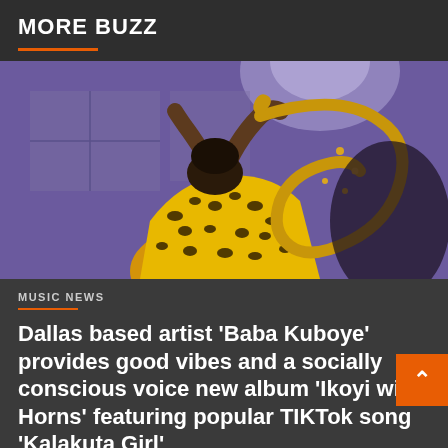MORE BUZZ
[Figure (photo): A performer in a yellow leopard-print outfit playing a saxophone on stage with purple stage lighting]
MUSIC NEWS
Dallas based artist 'Baba Kuboye' provides good vibes and a socially conscious voice new album 'Ikoyi with Horns' featuring popular TIKTok song 'Kalakuta Girl'